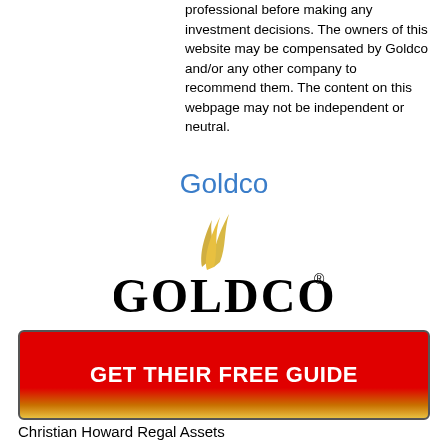professional before making any investment decisions. The owners of this website may be compensated by Goldco and/or any other company to recommend them. The content on this webpage may not be independent or neutral.
Goldco
[Figure (logo): Goldco logo with golden flame/swoosh above large GOLDCO text with registered trademark symbol]
GET THEIR FREE GUIDE
Christian Howard Regal Assets